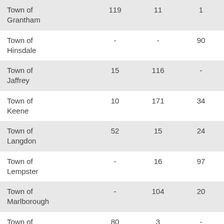|  |  |  |  |
| --- | --- | --- | --- |
| Town of Grantham | 119 | 11 | 1 |
| Town of Hinsdale | - | - | 90 |
| Town of Jaffrey | 15 | 116 | - |
| Town of Keene | 10 | 171 | 34 |
| Town of Langdon | 52 | 15 | 24 |
| Town of Lempster | - | 16 | 97 |
| Town of Marlborough | - | 104 | 20 |
| Town of Marlow | 80 | 3 | - |
| Town of Nelson | 17 | 8 | 86 |
| Town of Newport | - | 246 | 9 |
| Town of Plainfield | 113 | 46 | 12 |
| Town of | 134 | 1 | - |